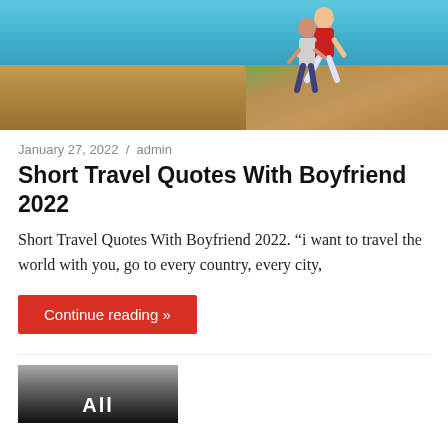[Figure (photo): Aerial/coastal beach scene with rocky formations and blue water; couple in foreground, woman in red top being carried piggyback]
January 27, 2022 / admin
Short Travel Quotes With Boyfriend 2022
Short Travel Quotes With Boyfriend 2022. “i want to travel the world with you, go to every country, every city,
Continue reading »
[Figure (photo): Black and white photo with large white text 'All' visible at bottom]